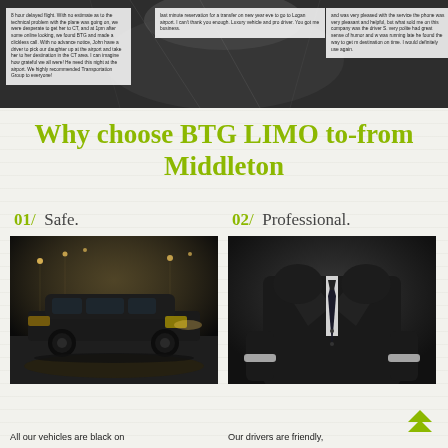[Figure (photo): Top banner with dark car interior background and three customer review text overlays side by side]
8 hour delayed flight. With no estimate as to the technical problem with the plane was going on, we were desperate to get her to CT, and at 1pm after some online looking, we found BTG and made a clickless call. With no advance notice, John have a driver to pick our daughter up at the airport and take her to her destination in the CT area. I can imagine how grateful we all were! He need this night at the airport. We highly recommended Transportation Group to everyone!
last minute reservation for a transfer on new year eve to go to Logan airport. I can't thank you enough. Luxury vehicle and pro driver. You got me business.
and was very pleased with the service the phone was very pleasant and helpful, but what sold me on this company was the driver S. very polite had great sense of humor and w was running late he found the way to get m destination on time. I would definitely use again.
Why choose BTG LIMO to-from Middleton
01/  Safe.
02/  Professional.
[Figure (photo): Black luxury SUV (Cadillac Escalade) on a dark city street at night with lights in background]
[Figure (photo): Professional man in black suit and tie against dark background, shown from chest down]
All our vehicles are black on
Our drivers are friendly,